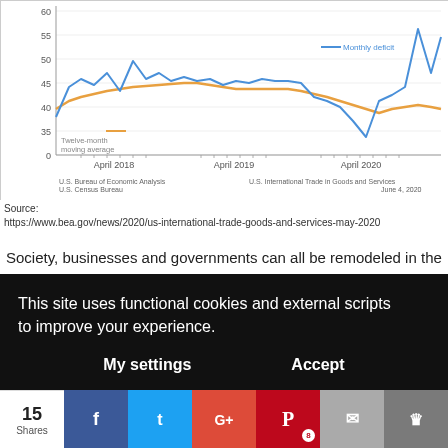[Figure (line-chart): Line chart showing U.S. trade deficit from April 2018 to April 2020. Two lines: Monthly deficit (blue) and Twelve-month moving average (orange). Y-axis from 0 to ~65 billion dollars. Monthly deficit spikes and dips more sharply; moving average is smoother.]
Source: https://www.bea.gov/news/2020/us-international-trade-goods-and-services-may-2020
Society, businesses and governments can all be remodeled in the
This site uses functional cookies and external scripts to improve your experience.